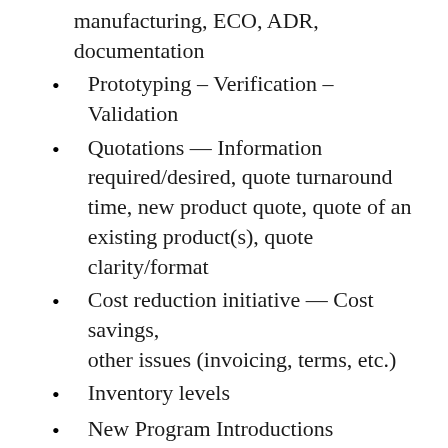manufacturing, ECO, ADR, documentation
Prototyping – Verification – Validation
Quotations — Information required/desired, quote turnaround time, new product quote, quote of an existing product(s), quote clarity/format
Cost reduction initiative — Cost savings, other issues (invoicing, terms, etc.)
Inventory levels
New Program Introductions
Goals and objectives
For our business to remain successful, we must work in synergy. You can achieve this through team bonding exercises and training that will make everyone feel included and encourage continuity without